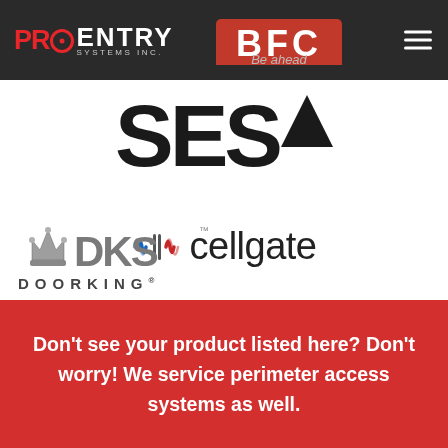[Figure (logo): Pro Entry Systems Inc. logo - top left in dark header bar, red PRO with power button icon, white ENTRY text, SYSTEMS INC. subtitle]
[Figure (logo): BFC logo partially visible at top center of dark header]
Be ahead
[Figure (logo): SES logo with large bold black SES text and black arrow/triangle pointing up-right]
[Figure (logo): Cellgate logo with wave/signal icon in blue and red and word cellgate in light gray/dark text]
[Figure (logo): DKS Doorking logo with crown icon and metallic DKS text, DOORKING below]
Don't see your product listed here? Don't worry! We service perimeter access systems as well.